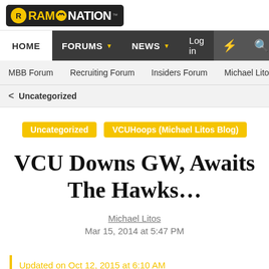[Figure (logo): RamNation logo with stylized ram icon, yellow and white text on dark background]
HOME | FORUMS | NEWS | Log in
MBB Forum | Recruiting Forum | Insiders Forum | Michael Litos Blog | R...
< Uncategorized
Uncategorized | VCUHoops (Michael Litos Blog)
VCU Downs GW, Awaits The Hawks…
Michael Litos
Mar 15, 2014 at 5:47 PM
Updated on Oct 12, 2015 at 6:10 AM